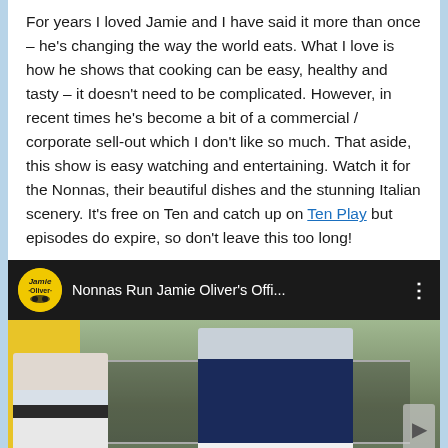For years I loved Jamie and I have said it more than once – he's changing the way the world eats. What I love is how he shows that cooking can be easy, healthy and tasty – it doesn't need to be complicated. However, in recent times he's become a bit of a commercial / corporate sell-out which I don't like so much. That aside, this show is easy watching and entertaining. Watch it for the Nonnas, their beautiful dishes and the stunning Italian scenery. It's free on Ten and catch up on Ten Play but episodes do expire, so don't leave this too long!
[Figure (screenshot): YouTube video embed showing 'Nonnas Run Jamie Oliver's Offi...' with Jamie Oliver channel logo, video title bar on dark background, and thumbnail showing Jamie Oliver on a scooter with a woman, in front of a building.]